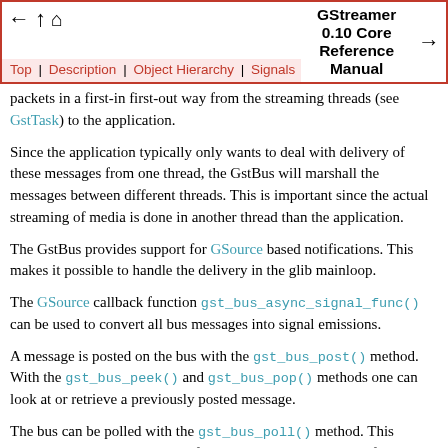GStreamer 0.10 Core Reference Manual
Top | Description | Object Hierarchy | Signals
packets in a first-in first-out way from the streaming threads (see GstTask) to the application.
Since the application typically only wants to deal with delivery of these messages from one thread, the GstBus will marshall the messages between different threads. This is important since the actual streaming of media is done in another thread than the application.
The GstBus provides support for GSource based notifications. This makes it possible to handle the delivery in the glib mainloop.
The GSource callback function gst_bus_async_signal_func() can be used to convert all bus messages into signal emissions.
A message is posted on the bus with the gst_bus_post() method. With the gst_bus_peek() and gst_bus_pop() methods one can look at or retrieve a previously posted message.
The bus can be polled with the gst_bus_poll() method. This methods blocks up to the specified timeout value until one of the specified messages types is posted on the bus. The application can then gst_bus_pop() the messages from the bus to handle them.